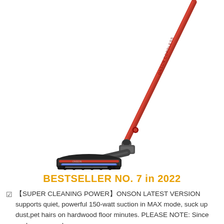[Figure (photo): Red cordless stick vacuum cleaner with floor brush head attachment, shown at an angle with red metal wand extending upward]
BESTSELLER NO. 7 in 2022
☑ 【SUPER CLEANING POWER】ONSON LATEST VERSION supports quiet, powerful 150-watt suction in MAX mode, suck up dust,pet hairs on hardwood floor minutes. PLEASE NOTE: Since we have upgrade our